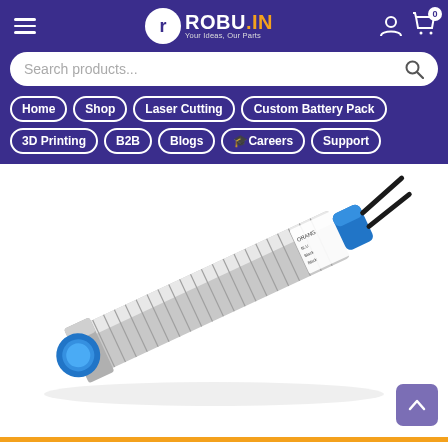ROBU.IN - Your Ideas, Our Parts - Navigation: Home, Shop, Laser Cutting, Custom Battery Pack, 3D Printing, B2B, Blogs, Careers, Support
[Figure (photo): Close-up photo of a cylindrical inductive proximity sensor with a metallic threaded body, blue plastic cap/tip on one end, blue connector on the other end with wires. The sensor is silver/chrome colored with a label showing wiring diagram. Photographed on white background at an angle.]